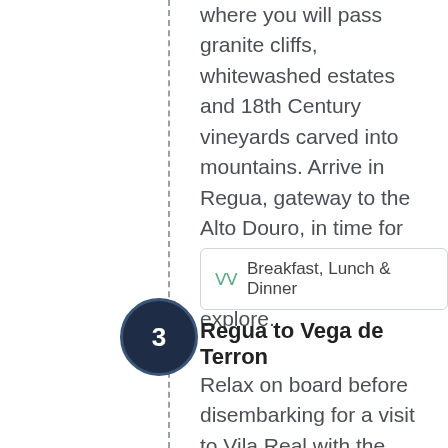where you will pass granite cliffs, whitewashed estates and 18th Century vineyards carved into mountains. Arrive in Regua, gateway to the Alto Douro, in time for an evening of dancing or some free time to explore.
Breakfast, Lunch & Dinner
Regua to Vega de Terron
Relax on board before disembarking for a visit to Vila Real with the chance to stroll through the landscaped gardens of Mateus Palace and taste the delicious local